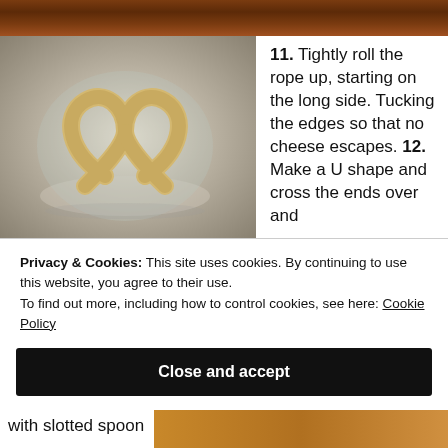[Figure (photo): Top strip showing food/brownie background in reddish-brown color]
[Figure (photo): A pretzel-shaped dough boiling in a stainless steel pot of water]
11. Tightly roll the rope up, starting on the long side. Tucking the edges so that no cheese escapes. 12. Make a U shape and cross the ends over and
Privacy & Cookies: This site uses cookies. By continuing to use this website, you agree to their use.
To find out more, including how to control cookies, see here: Cookie Policy
Close and accept
with slotted spoon
[Figure (photo): Bottom right partial image of baked pretzels or pastry in orange-brown color]